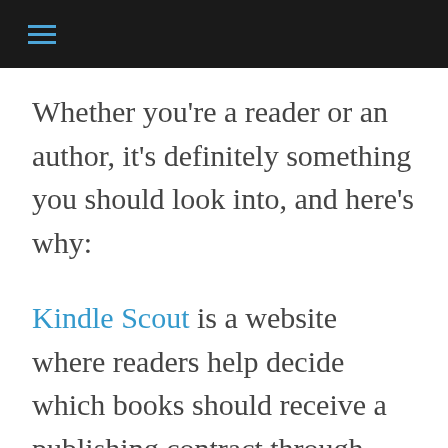≡
Whether you're a reader or an author, it's definitely something you should look into, and here's why:
Kindle Scout is a website where readers help decide which books should receive a publishing contract through Kindle Press.
Authors submitting for